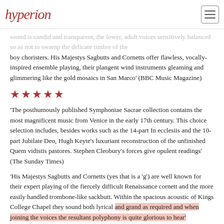Hyperion
sound is candid and transparent, the lower, adult voices sensitively balanced so as not to swamp the delicate timbre of the boy choristers. His Majestys Sagbutts and Cornetts offer flawless, vocally-inspired ensemble playing, their plangent wind instruments gleaming and glimmering like the gold mosaics in San Marco' (BBC Music Magazine)
★★★★★
'The posthumously published Symphoniae Sacrae collection contains the most magnificent music from Venice in the early 17th century. This choice selection includes, besides works such as the 14-part In ecclesiis and the 10-part Jubilate Deo, Hugh Keyte's luxuriant reconstruction of the unfinished Quem vidistis pastores. Stephen Cleobury's forces give opulent readings' (The Sunday Times)
'His Majestys Sagbutts and Cornetts (yes that is a 'g') are well known for their expert playing of the fiercely difficult Renaissance cornett and the more easily handled trombone-like sackbutt. Within the spacious acoustic of Kings College Chapel they sound both lyrical and grand as required and when joining the voices the resultant polyphony is quite glorious to hear' (MusicWeb International)
'An exciting recording of this consistently brilliant music' (Early Music)